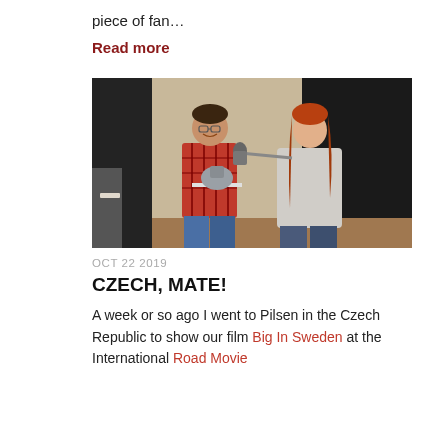piece of fan…
Read more
[Figure (photo): Two people on a stage — a man in a red plaid shirt holding a grey object on a tray, and a woman with long red hair holding a microphone toward him. Dark background with a screen or wall behind them.]
OCT 22 2019
CZECH, MATE!
A week or so ago I went to Pilsen in the Czech Republic to show our film Big In Sweden at the International Road Movie